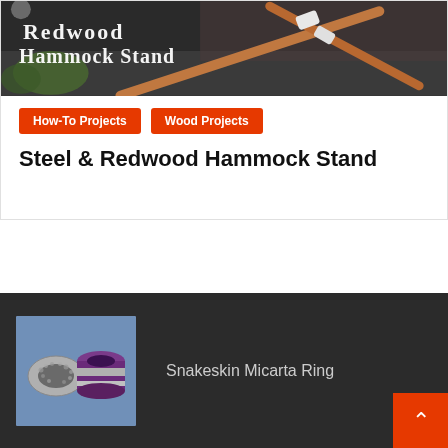[Figure (photo): Hero image showing a Redwood Hammock Stand with text overlay reading 'Redwood Hammock Stand', featuring wooden poles and hardware outdoors]
How-To Projects
Wood Projects
Steel & Redwood Hammock Stand
[Figure (photo): Thumbnail image showing two rings — one silver snakeskin-textured ring and one purple/silver layered ring — on a light blue background]
Snakeskin Micarta Ring